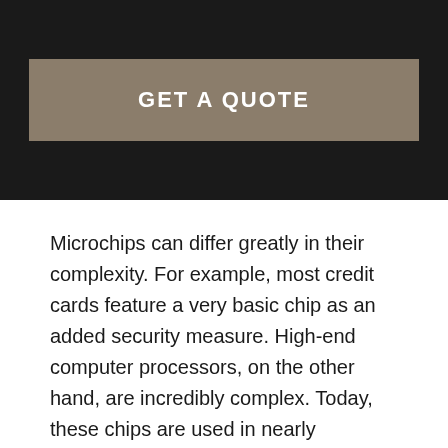GET A QUOTE
Microchips can differ greatly in their complexity. For example, most credit cards feature a very basic chip as an added security measure. High-end computer processors, on the other hand, are incredibly complex. Today, these chips are used in nearly everything, from cars and smartphones to refrigerators and electric toothbrushes.
They're extremely small, too (hence the name microchip). According to Intel, a leader in chip manufacturing, a single chip transistor is about 10,000 times smaller than a human hair! And to build a